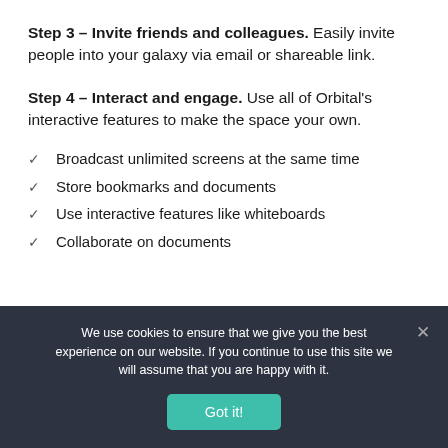Step 3 – Invite friends and colleagues. Easily invite people into your galaxy via email or shareable link.
Step 4 – Interact and engage. Use all of Orbital's interactive features to make the space your own.
Broadcast unlimited screens at the same time
Store bookmarks and documents
Use interactive features like whiteboards
Collaborate on documents
We use cookies to ensure that we give you the best experience on our website. If you continue to use this site we will assume that you are happy with it.